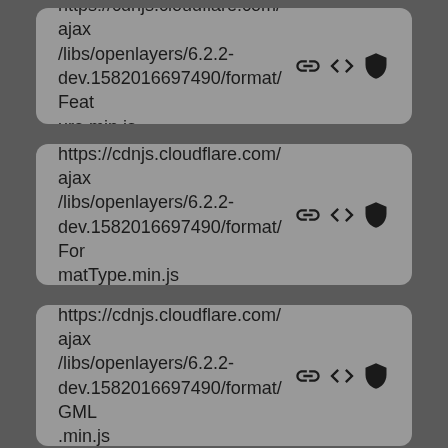https://cdnjs.cloudflare.com/ajax/libs/openlayers/6.2.2-dev.1582016697490/format/Feature.min.js
https://cdnjs.cloudflare.com/ajax/libs/openlayers/6.2.2-dev.1582016697490/format/FormatType.min.js
https://cdnjs.cloudflare.com/ajax/libs/openlayers/6.2.2-dev.1582016697490/format/GML.min.js
https://cdnjs.cloudflare.com/ajax/libs/openlayers/6.2.2-dev.1582016697490/format/...